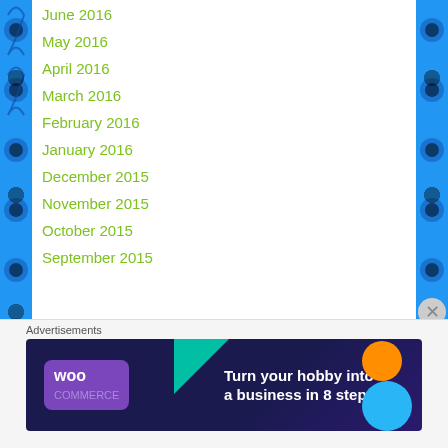June 2016
May 2016
April 2016
March 2016
February 2016
January 2016
December 2015
November 2015
October 2015
September 2015
Advertisements
[Figure (illustration): WooCommerce banner ad: Turn your hobby into a business in 8 steps]